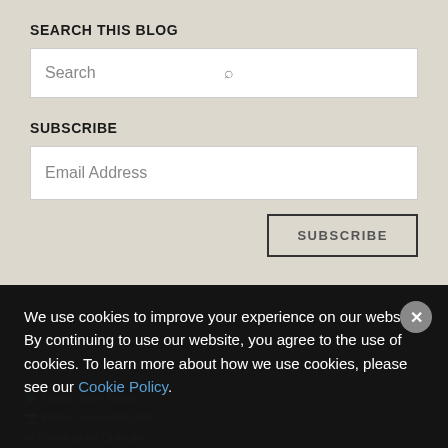SEARCH THIS BLOG
[Figure (screenshot): Search input box with placeholder 'Search' and a search icon on the right]
SUBSCRIBE
[Figure (screenshot): Email address input box with placeholder 'Email Address' and a SUBSCRIBE button]
We use cookies to improve your experience on our website. By continuing to use our website, you agree to the use of cookies. To learn more about how we use cookies, please see our Cookie Policy.
About Us
Footer content partially visible behind cookie overlay